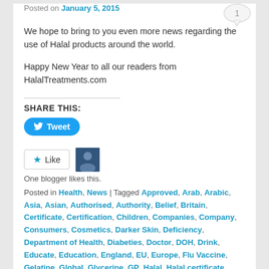Posted on January 5, 2015
We hope to bring to you even more news regarding the use of Halal products around the world.
Happy New Year to all our readers from HalalTreatments.com
SHARE THIS:
[Figure (other): Tweet button - blue rounded button with Twitter bird icon and 'Tweet' text]
[Figure (other): Like button with star icon and blogger avatar thumbnail. Text: One blogger likes this.]
Posted in Health, News | Tagged Approved, Arab, Arabic, Asia, Asian, Authorised, Authority, Belief, Britain, Certificate, Certification, Children, Companies, Company, Consumers, Cosmetics, Darker Skin, Deficiency, Department of Health, Diabeties, Doctor, DOH, Drink, Educate, Education, England, EU, Europe, Flu Vaccine, Gelatine, Global, Glycerine, GP, Halal, Halal certificate,